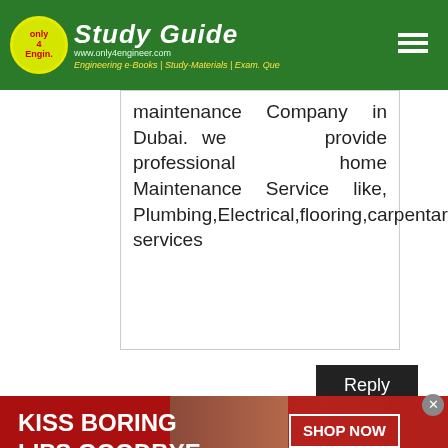Only4Engineers Study Guide — Engineering e-Books | Study-Materials | Exam. Que — www.only4engineer.com
maintenance Company in Dubai. we provide professional home Maintenance Service like, Plumbing,Electrical,flooring,carpentary,Renovation services
Reply
infolinks
[Figure (photo): Advertisement banner: Kiss Boring Lips Goodbye — Shop Now — Macy's, showing a woman with red lipstick]
KISS BORING LIPS GOODBYE
SHOP NOW ★macys